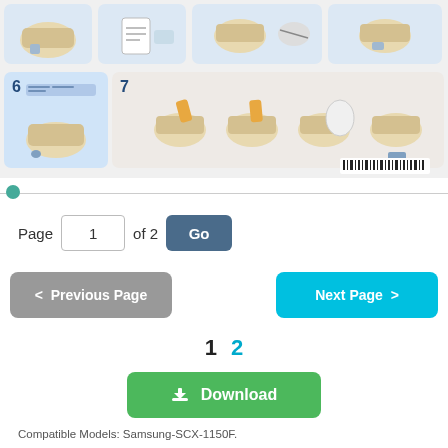[Figure (illustration): Two rows of printer setup step thumbnails. Row 1 shows steps with printer and accessories. Row 2 shows step 6 (printer with blue highlight) and step 7 (series of 4 printer images showing toner/cartridge installation steps).]
[Figure (other): Barcode in bottom right of image area]
Page 1 of 2 Go
< Previous Page
Next Page >
1 2
⬇ Download
Compatible Models: Samsung-SCX-1150F.
Samsung SCX-1150F Installation Guide is downloaded